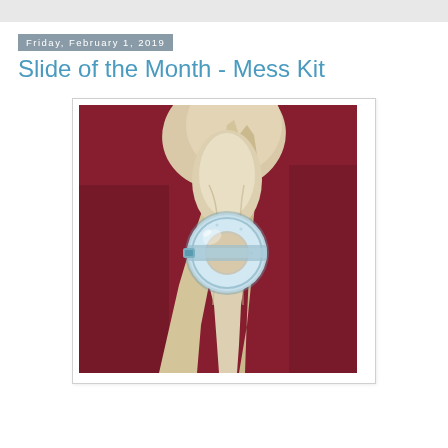Friday, February 1, 2019
Slide of the Month - Mess Kit
[Figure (photo): A cream/beige cloth napkin bundled and held together by a round light blue glass or plastic napkin ring, laid on a dark red/crimson fabric background. The photo is taken from above, showing the napkin gathered through the circular ring.]